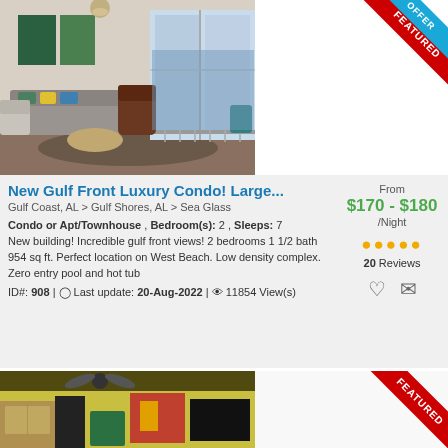[Figure (photo): Interior living room photo of gulf front condo with grey sofas, colorful pillows, ceiling light, and ocean view through large windows and balcony]
New Gulf Front Luxury Condo! Large...
Gulf Coast, AL > Gulf Shores, AL > Sea Glass
Condo or Apt/Townhouse , Bedroom(s): 2 , Sleeps: 7
New building! Incredible gulf front views! 2 bedrooms 1 1/2 bath 954 sq ft. Perfect location on West Beach. Low density complex. Zero entry pool and hot tub
From
$170 - $180
/Night
20 Reviews
ID#: 908 | Last update: 20-Aug-2022 | 11854 View(s)
[Figure (photo): Interior kitchen/living area photo with yellow walls, black appliances, ceiling fan, and colorful artwork]